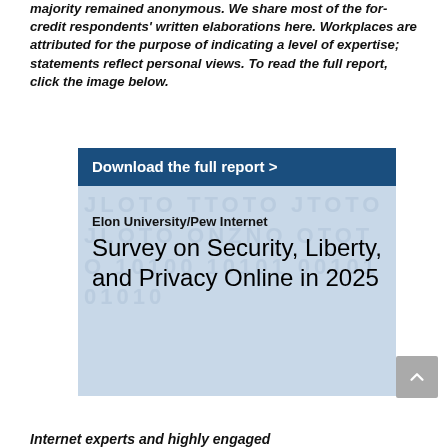majority remained anonymous. We share most of the for-credit respondents' written elaborations here. Workplaces are attributed for the purpose of indicating a level of expertise; statements reflect personal views. To read the full report, click the image below.
[Figure (illustration): Cover image for 'Elon University/Pew Internet Survey on Security, Liberty, and Privacy Online in 2025' with a blue banner saying 'Download the full report >' and a background of binary/digital text]
Internet experts and highly engaged